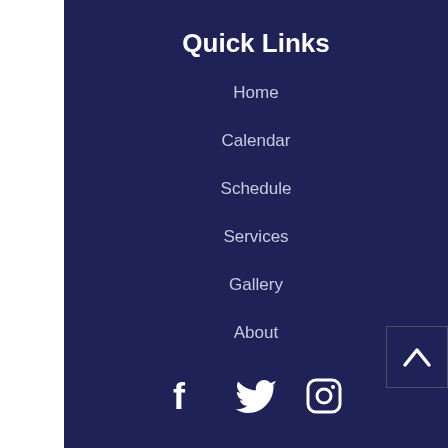Quick Links
Home
Calendar
Schedule
Services
Gallery
About
[Figure (illustration): Social media icons: Facebook, Twitter, Instagram, and a scroll-to-top arrow button]